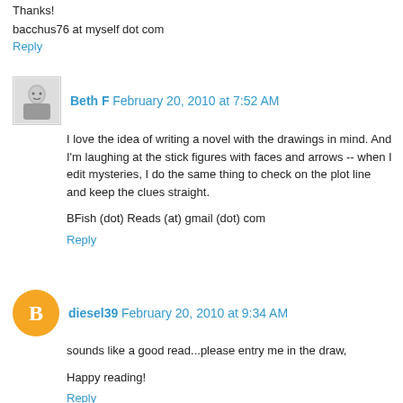Thanks!
bacchus76 at myself dot com
Reply
Beth F  February 20, 2010 at 7:52 AM
I love the idea of writing a novel with the drawings in mind. And I'm laughing at the stick figures with faces and arrows -- when I edit mysteries, I do the same thing to check on the plot line and keep the clues straight.
BFish (dot) Reads (at) gmail (dot) com
Reply
diesel39  February 20, 2010 at 9:34 AM
sounds like a good read...please entry me in the draw,
Happy reading!
Reply